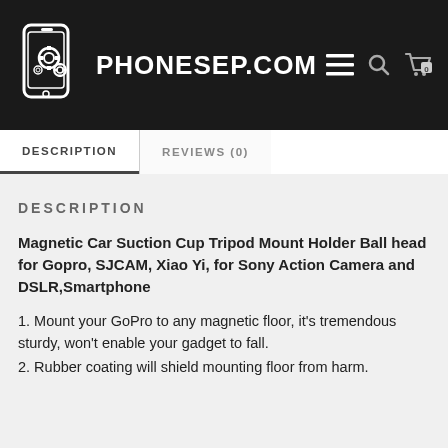[Figure (logo): PHONESEP.COM website header with phone/gear logo icon on dark background, hamburger menu, search icon, and cart icon with badge showing 0]
PHONESEP.COM
DESCRIPTION
REVIEWS (0)
DESCRIPTION
Magnetic Car Suction Cup Tripod Mount Holder Ball head for Gopro, SJCAM, Xiao Yi, for Sony Action Camera and DSLR,Smartphone
1. Mount your GoPro to any magnetic floor, it's tremendous sturdy, won't enable your gadget to fall.
2. Rubber coating will shield mounting floor from harm.